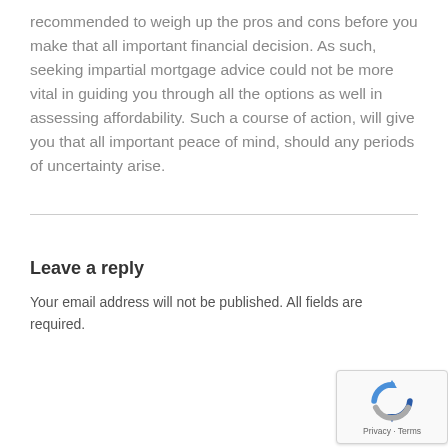recommended to weigh up the pros and cons before you make that all important financial decision. As such, seeking impartial mortgage advice could not be more vital in guiding you through all the options as well in assessing affordability. Such a course of action, will give you that all important peace of mind, should any periods of uncertainty arise.
Leave a reply
Your email address will not be published. All fields are required.
[Figure (other): A text input field with placeholder text 'Name']
[Figure (other): Google reCAPTCHA badge with recycling arrows logo and Privacy · Terms text]